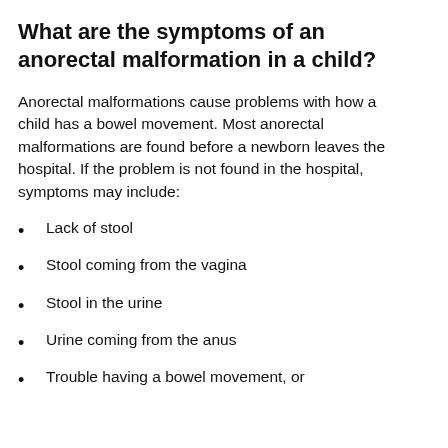What are the symptoms of an anorectal malformation in a child?
Anorectal malformations cause problems with how a child has a bowel movement. Most anorectal malformations are found before a newborn leaves the hospital. If the problem is not found in the hospital, symptoms may include:
Lack of stool
Stool coming from the vagina
Stool in the urine
Urine coming from the anus
Trouble having a bowel movement, or